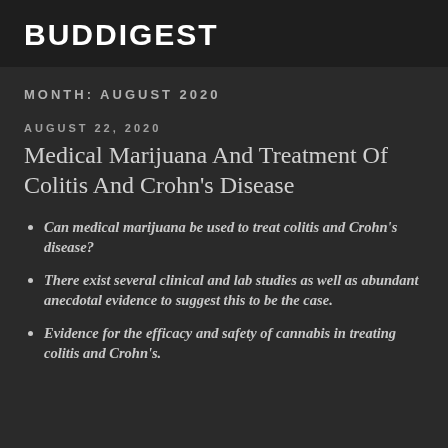BUDDIGEST
MONTH: AUGUST 2020
AUGUST 22, 2020
Medical Marijuana And Treatment Of Colitis And Crohn's Disease
Can medical marijuana be used to treat colitis and Crohn's disease?
There exist several clinical and lab studies as well as abundant anecdotal evidence to suggest this to be the case.
Evidence for the efficacy and safety of cannabis in treating colitis and Crohn's.